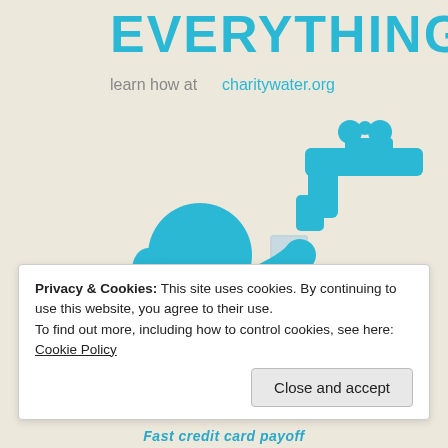[Figure (illustration): Charity: water promotional illustration on beige/cream background. Top shows large teal/cyan bold text 'EVERYTHING.' and below it gray text 'learn how at charitywater.org'. Lower portion shows a teal icon of a person (circle head with droplet body) holding a glass under a teal water faucet/tap icon on the right side.]
Privacy & Cookies: This site uses cookies. By continuing to use this website, you agree to their use.
To find out more, including how to control cookies, see here: Cookie Policy
Close and accept
Fast credit card payoff